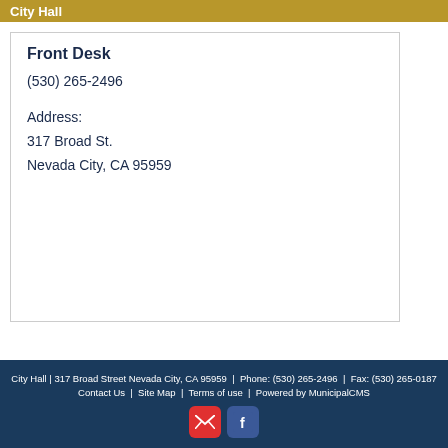City Hall
Front Desk
(530) 265-2496
Address:
317 Broad St.
Nevada City, CA 95959
City Hall | 317 Broad Street Nevada City, CA 95959 | Phone: (530) 265-2496 | Fax: (530) 265-0187 Contact Us | Site Map | Terms of use | Powered by MunicipalCMS